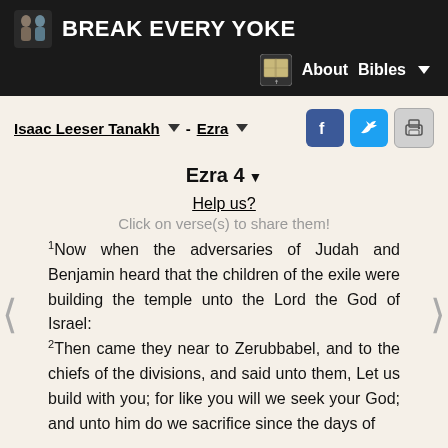BREAK EVERY YOKE
About  Bibles
Isaac Leeser Tanakh ▼ - Ezra ▼
Ezra 4 ▼
Help us?
Click on verse(s) to share them!
1Now when the adversaries of Judah and Benjamin heard that the children of the exile were building the temple unto the Lord the God of Israel: 2Then came they near to Zerubbabel, and to the chiefs of the divisions, and said unto them, Let us build with you; for like you will we seek your God; and unto him do we sacrifice since the days of